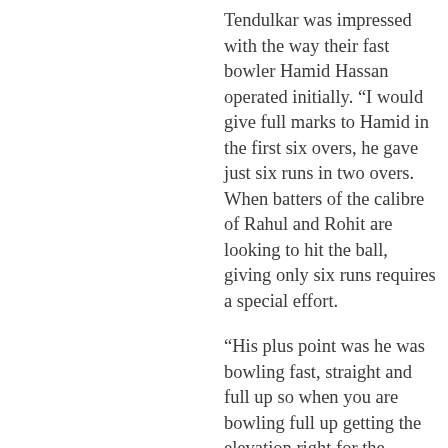Tendulkar was impressed with the way their fast bowler Hamid Hassan operated initially. “I would give full marks to Hamid in the first six overs, he gave just six runs in two overs. When batters of the calibre of Rahul and Rohit are looking to hit the ball, giving only six runs requires a special effort.
“His plus point was he was bowling fast, straight and full up so when you are bowling full up getting the elevation right for the